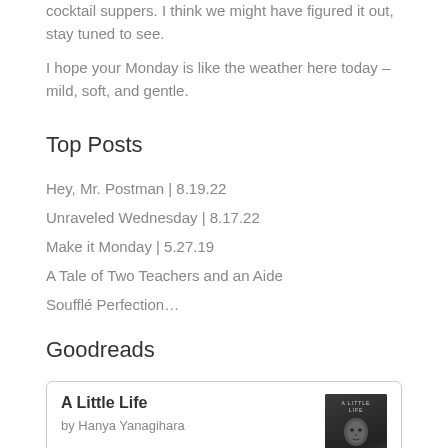cocktail suppers. I think we might have figured it out, stay tuned to see.
I hope your Monday is like the weather here today – mild, soft, and gentle.
Top Posts
Hey, Mr. Postman | 8.19.22
Unraveled Wednesday | 8.17.22
Make it Monday | 5.27.19
A Tale of Two Teachers and an Aide
Soufflé Perfection…
Goodreads
[Figure (illustration): Goodreads widget card showing book 'A Little Life' by Hanya Yanagihara with a dark book cover image featuring a person's face]
A Little Life
by Hanya Yanagihara